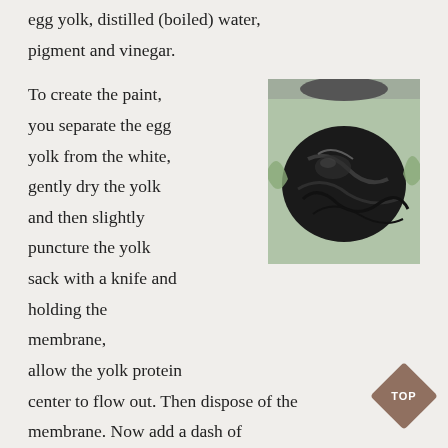egg yolk, distilled (boiled) water, pigment and vinegar.
To create the paint, you separate the egg yolk from the white, gently dry the yolk and then slightly puncture the yolk sack with a knife and holding the membrane, allow the yolk protein center to flow out. Then dispose of the membrane. Now add a dash of vinegar, and then again as much distilled (cool) water as is egg yolk,
[Figure (photo): A dark black pigment paint mixture spread on a light green surface, showing thick paste-like consistency.]